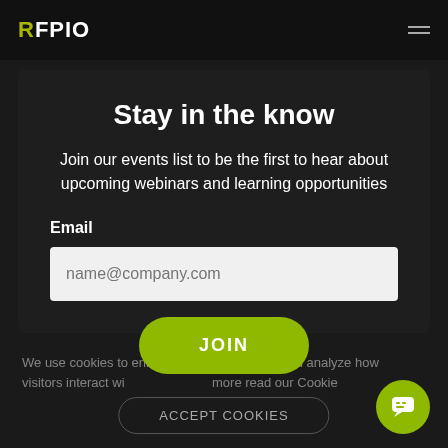RFPIO [hamburger menu]
all the benefits of integrating your sales tech stack and best practices for making it happen.
Stay in the know
Join our events list to be the first to hear about upcoming webinars and learning opportunities
Email
name@company.com
We use cookies to enhance your experience and analyze how visitors interact with our site. For more read our Cookie
JOIN
ACCEPT COOKIES